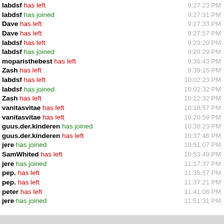labdsf has left  9:27:23 PM
labdsf has joined  9:27:31 PM
Dave has left  9:27:33 PM
Dave has left  9:27:57 PM
labdsf has left  9:29:20 PM
labdsf has joined  9:29:29 PM
moparisthebest has left  9:36:43 PM
Zash has left  9:39:15 PM
labdsf has left  10:02:23 PM
labdsf has joined  10:02:32 PM
Zash has left  10:12:32 PM
vanitasvitae has left  10:18:57 PM
vanitasvitae has left  10:20:59 PM
guus.der.kinderen has joined  10:36:23 PM
guus.der.kinderen has left  10:37:46 PM
jere has joined  10:51:07 PM
SamWhited has left  10:53:49 PM
jere has joined  11:17:37 PM
pep. has left  11:35:57 PM
pep. has left  11:37:21 PM
peter has left  11:41:06 PM
jere has joined  11:51:31 PM